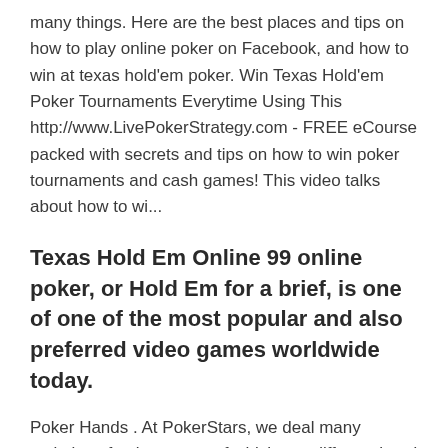many things. Here are the best places and tips on how to play online poker on Facebook, and how to win at texas hold'em poker. Win Texas Hold'em Poker Tournaments Everytime Using This http://www.LivePokerStrategy.com - FREE eCourse packed with secrets and tips on how to win poker tournaments and cash games! This video talks about how to wi...
Texas Hold Em Online 99 online poker, or Hold Em for a brief, is one of one of the most popular and also preferred video games worldwide today.
Poker Hands . At PokerStars, we deal many varieties of poker, some of which use different hand rankings.